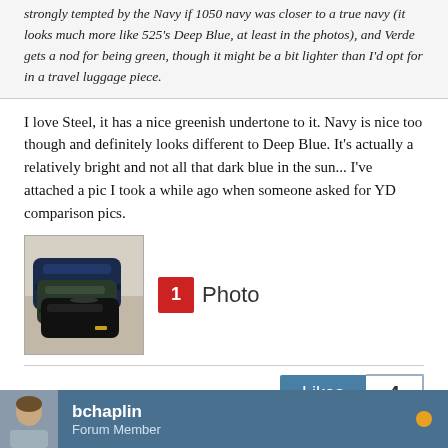strongly tempted by the Navy if 1050 navy was closer to a true navy (it looks much more like 525's Deep Blue, at least in the photos), and Verde gets a nod for being green, though it might be a bit lighter than I'd opt for in a travel luggage piece.
I love Steel, it has a nice greenish undertone to it. Navy is nice too though and definitely looks different to Deep Blue. It's actually a relatively bright and not all that dark blue in the sun... I've attached a pic I took a while ago when someone asked for YD comparison pics.
[Figure (photo): Photo thumbnail of dark blue/navy bags stacked together for color comparison]
1 Photo
Likes 4
bchaplin
Forum Member